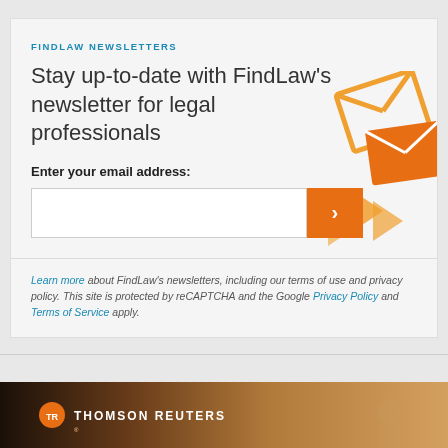FINDLAW NEWSLETTERS
Stay up-to-date with FindLaw's newsletter for legal professionals
Enter your email address:
[Figure (illustration): Decorative orange envelope and arrow graphics in the upper-right corner of the newsletter signup box]
Learn more about FindLaw's newsletters, including our terms of use and privacy policy. This site is protected by reCAPTCHA and the Google Privacy Policy and Terms of Service apply.
[Figure (logo): Thomson Reuters banner with orange circle logo and white bold text reading THOMSON REUTERS on a warm gradient background with a silhouetted figure]